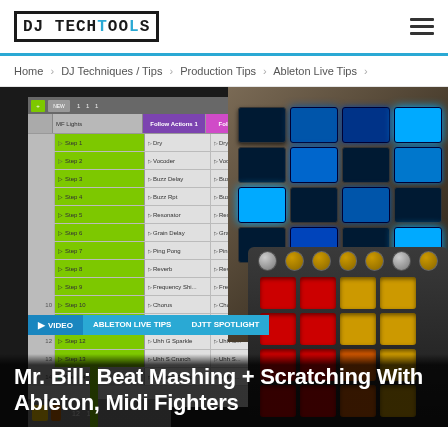DJ TECHTOOLS
Home > DJ Techniques / Tips > Production Tips > Ableton Live Tips >
[Figure (screenshot): Screenshot of a webpage showing an Ableton Live session with Follow Actions, overlaid with a keyboard and a MIDI Fighter controller. Tags read VIDEO, ABLETON LIVE TIPS, DJTT SPOTLIGHT.]
Mr. Bill: Beat Mashing + Scratching With Ableton, Midi Fighters